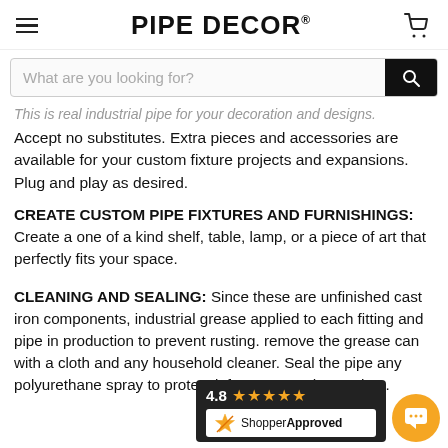PIPE DECOR®
This is real industrial pipe for your decoration and designs. Accept no substitutes. Extra pieces and accessories are available for your custom fixture projects and expansions. Plug and play as desired.
CREATE CUSTOM PIPE FIXTURES AND FURNISHINGS: Create a one of a kind shelf, table, lamp, or a piece of art that perfectly fits your space.
CLEANING AND SEALING: Since these are unfinished cast iron components, industrial grease applied to each fitting and pipe in production to prevent rusting. remove the grease can with a cloth and any household cleaner. Seal the pipe any polyurethane spray to protect it from rust and scratches.
[Figure (other): Shopper Approved badge showing 4.8 star rating with 5 stars and ShopperApproved logo]